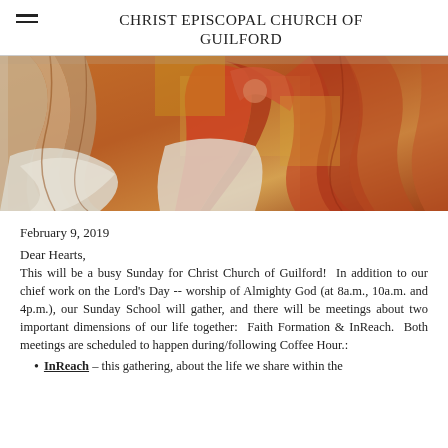CHRIST EPISCOPAL CHURCH OF GUILFORD
[Figure (photo): Religious fresco/mural painting in warm red, orange, gold, and white tones, depicting robed figures with flowing garments.]
February 9, 2019
Dear Hearts,
This will be a busy Sunday for Christ Church of Guilford! In addition to our chief work on the Lord's Day -- worship of Almighty God (at 8a.m., 10a.m. and 4p.m.), our Sunday School will gather, and there will be meetings about two important dimensions of our life together: Faith Formation & InReach. Both meetings are scheduled to happen during/following Coffee Hour.:
InReach – this gathering, about the life we share within the